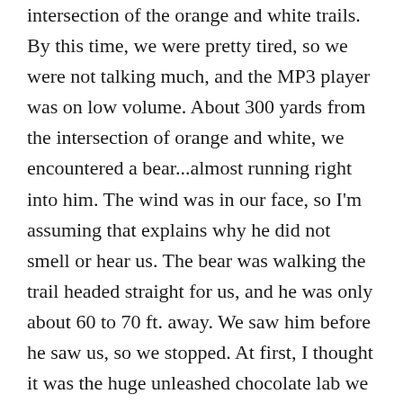intersection of the orange and white trails. By this time, we were pretty tired, so we were not talking much, and the MP3 player was on low volume. About 300 yards from the intersection of orange and white, we encountered a bear...almost running right into him. The wind was in our face, so I'm assuming that explains why he did not smell or hear us. The bear was walking the trail headed straight for us, and he was only about 60 to 70 ft. away. We saw him before he saw us, so we stopped. At first, I thought it was the huge unleashed chocolate lab we saw earlier in the day...not the case. The bear took a few steps, he looked up, saw us, then he darted to his left and into the